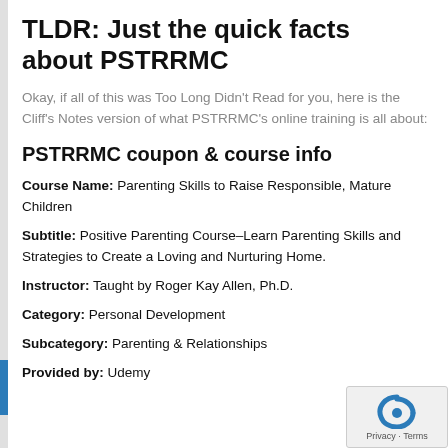TLDR: Just the quick facts about PSTRRMC
Okay, if all of this was Too Long Didn't Read for you, here is the Cliff's Notes version of what PSTRRMC's online training is all about:
PSTRRMC coupon & course info
Course Name: Parenting Skills to Raise Responsible, Mature Children
Subtitle: Positive Parenting Course–Learn Parenting Skills and Strategies to Create a Loving and Nurturing Home.
Instructor: Taught by Roger Kay Allen, Ph.D.
Category: Personal Development
Subcategory: Parenting & Relationships
Provided by: Udemy